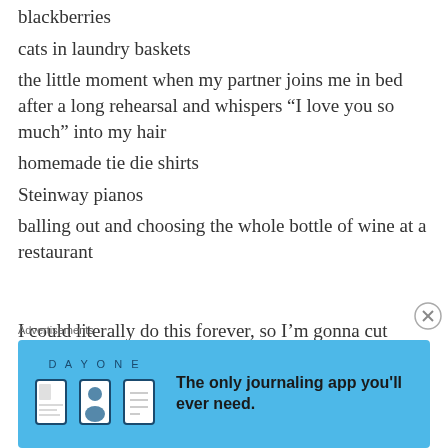blackberries
cats in laundry baskets
the little moment when my partner joins me in bed after a long rehearsal and whispers “I love you so much” into my hair
homemade tie die shirts
Steinway pianos
balling out and choosing the whole bottle of wine at a restaurant
I could literally do this forever, so I’m gonna cut myself off there and call it a night. Make your own list! Try not to judge what comes out. It’s honestly so fun. I feel better already
Advertisements
[Figure (other): Day One journaling app advertisement banner with blue background, app icons, and tagline: The only journaling app you'll ever need.]